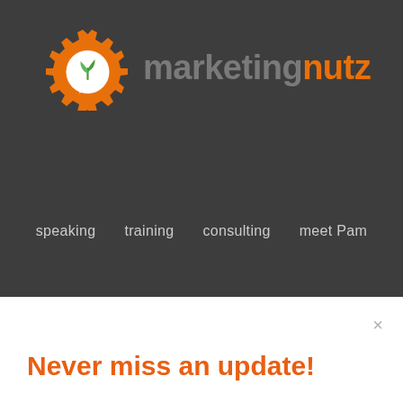[Figure (logo): Marketing Nutz logo: orange gear icon with a white speech bubble containing a green leaf sprout, followed by the text 'marketingnutz' in gray and orange]
speaking   training   consulting   meet Pam
×
Never miss an update!